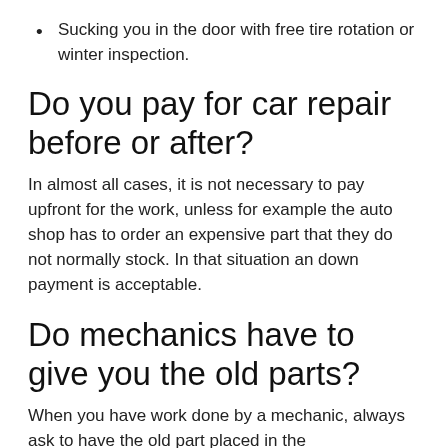Sucking you in the door with free tire rotation or winter inspection.
Do you pay for car repair before or after?
In almost all cases, it is not necessary to pay upfront for the work, unless for example the auto shop has to order an expensive part that they do not normally stock. In that situation an down payment is acceptable.
Do mechanics have to give you the old parts?
When you have work done by a mechanic, always ask to have the old part placed in the